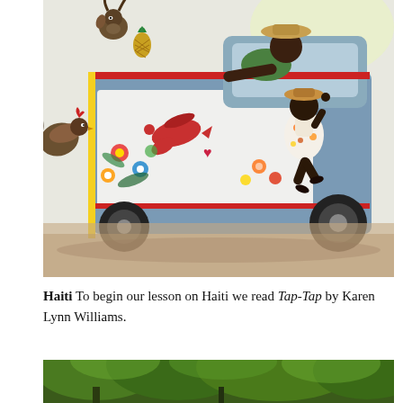[Figure (illustration): Watercolor illustration of a colorful decorated tap-tap truck in Haiti. A person leans from the truck window wearing a straw hat; a girl in a floral dress also wears a straw hat and appears to be running alongside. A rooster flaps on the left side. The truck's side panels are painted with bright flowers, birds, and hearts on a blue and white background. Sandy/dusty ground is shown below.]
Haiti To begin our lesson on Haiti we read Tap-Tap by Karen Lynn Williams.
[Figure (photo): Photograph of lush green tropical trees and vegetation, partially visible at the bottom of the page.]